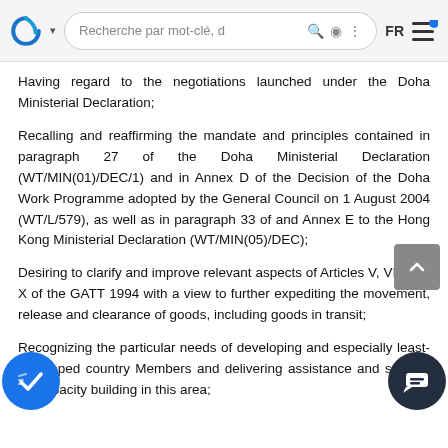Recherche par mot-clé, d  FR
Having regard to the negotiations launched under the Doha Ministerial Declaration;
Recalling and reaffirming the mandate and principles contained in paragraph 27 of the Doha Ministerial Declaration (WT/MIN(01)/DEC/1) and in Annex D of the Decision of the Doha Work Programme adopted by the General Council on 1 August 2004 (WT/L/579), as well as in paragraph 33 of and Annex E to the Hong Kong Ministerial Declaration (WT/MIN(05)/DEC);
Desiring to clarify and improve relevant aspects of Articles V, VIII and X of the GATT 1994 with a view to further expediting the movement, release and clearance of goods, including goods in transit;
Recognizing the particular needs of developing and especially least-developed country Members and delivering assistance and support for capacity building in this area;